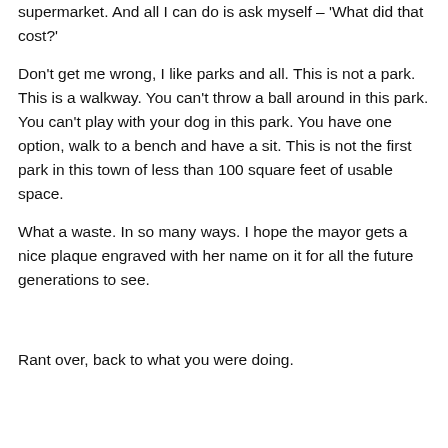supermarket. And all I can do is ask myself – 'What did that cost?'
Don't get me wrong, I like parks and all. This is not a park. This is a walkway. You can't throw a ball around in this park. You can't play with your dog in this park. You have one option, walk to a bench and have a sit. This is not the first park in this town of less than 100 square feet of usable space.
What a waste. In so many ways. I hope the mayor gets a nice plaque engraved with her name on it for all the future generations to see.
Rant over, back to what you were doing.